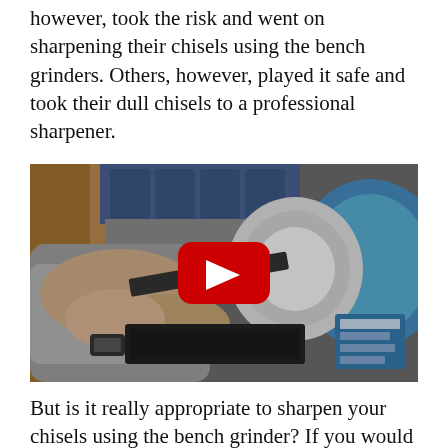however, took the risk and went on sharpening their chisels using the bench grinders. Others, however, played it safe and took their dull chisels to a professional sharpener.
[Figure (photo): A person using a bench grinder to sharpen a chisel, with a YouTube play button overlay indicating this is an embedded video thumbnail.]
But is it really appropriate to sharpen your chisels using the bench grinder? If you would ask me, I'd readily tell you that you